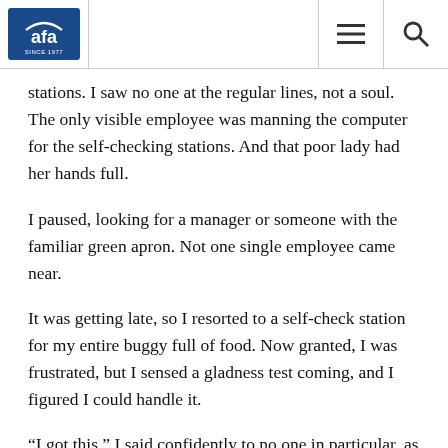AFA logo, menu icon, search icon
stations. I saw no one at the regular lines, not a soul. The only visible employee was manning the computer for the self-checking stations. And that poor lady had her hands full.
I paused, looking for a manager or someone with the familiar green apron. Not one single employee came near.
It was getting late, so I resorted to a self-check station for my entire buggy full of food. Now granted, I was frustrated, but I sensed a gladness test coming, and I figured I could handle it.
“I got this,” I said confidently to no one in particular, as I began putting my zillion and one items onto the conveyer